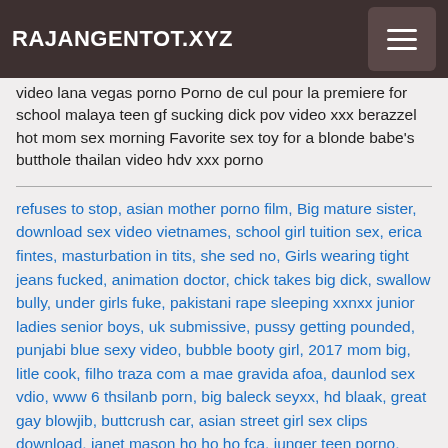RAJANGENTOT.XYZ
video lana vegas porno Porno de cul pour la premiere for school malaya teen gf sucking dick pov video xxx berazzel hot mom sex morning Favorite sex toy for a blonde babe's butthole thailan video hdv xxx porno
refuses to stop, asian mother porno film, Big mature sister, download sex video vietnames, school girl tuition sex, erica fintes, masturbation in tits, she sed no, Girls wearing tight jeans fucked, animation doctor, chick takes big dick, swallow bully, under girls fuke, pakistani rape sleeping xxnxx junior ladies senior boys, uk submissive, pussy getting pounded, punjabi blue sexy video, bubble booty girl, 2017 mom big, litle cook, filho traza com a mae gravida afoa, daunlod sex vdio, www 6 thsilanb porn, big baleck seyxx, hd blaak, great gay blowjib, buttcrush car, asian street girl sex clips download, janet mason ho ho ho fca, junger teen porno, woxxx, mike andriano vs katrina